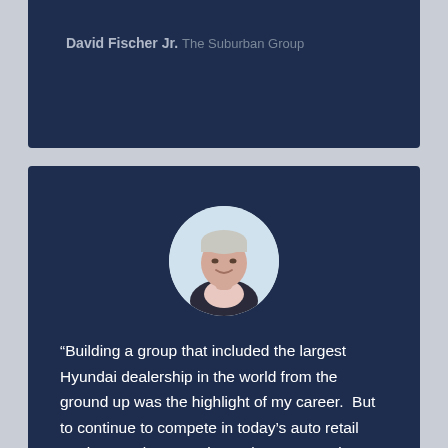David Fischer Jr.
The Suburban Group
[Figure (photo): Circular headshot portrait of a middle-aged man with short gray hair, wearing a dark jacket, smiling, set against a light blue-gray background]
"Building a group that included the largest Hyundai dealership in the world from the ground up was the highlight of my career.  But to continue to compete in today's auto retail market requires ever-larger investments in